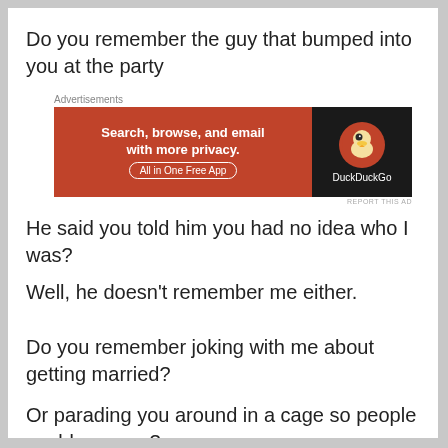Do you remember the guy that bumped into you at the party
[Figure (other): DuckDuckGo advertisement banner: orange left section with text 'Search, browse, and email with more privacy. All in One Free App' and dark right section with DuckDuckGo logo and name]
He said you told him you had no idea who I was?
Well, he doesn't remember me either.
Do you remember joking with me about getting married?
Or parading you around in a cage so people could see you?